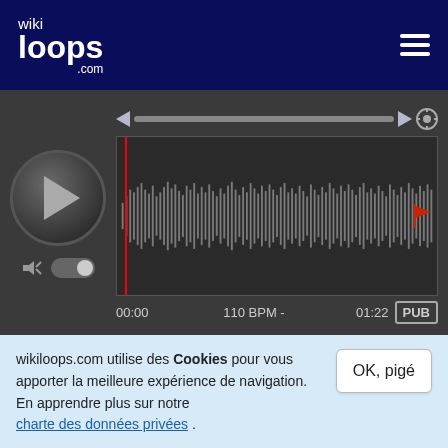[Figure (screenshot): wikiloops.com logo in white text on dark navy header with hamburger menu icon]
[Figure (screenshot): Audio player with play button, waveform display, scrubber, time 00:00 to 01:22, 110 BPM, PUB badge, volume and toggle controls]
The mystery of Bulgarian voices
Close your eyes please
wikiloops.com utilise des Cookies pour vous apporter la meilleure expérience de navigation. En apprendre plus sur notre charte des données privées .
OK, pigé